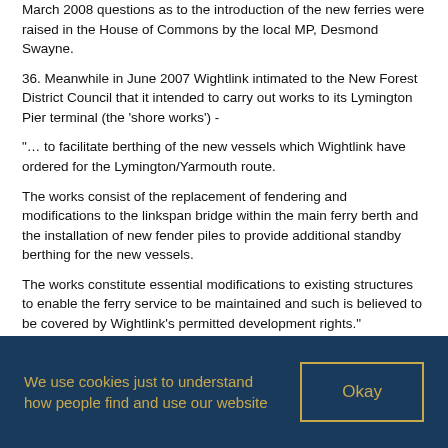March 2008 questions as to the introduction of the new ferries were raised in the House of Commons by the local MP, Desmond Swayne.
36. Meanwhile in June 2007 Wightlink intimated to the New Forest District Council that it intended to carry out works to its Lymington Pier terminal (the 'shore works') -
"… to facilitate berthing of the new vessels which Wightlink have ordered for the Lymington/Yarmouth route.
The works consist of the replacement of fendering and modifications to the linkspan bridge within the main ferry berth and the installation of new fender piles to provide additional standby berthing for the new vessels.
The works constitute essential modifications to existing structures to enable the ferry service to be maintained and such is believed to be covered by Wightlink's permitted development rights."
We use cookies just to understand how people find and use our website
Okay